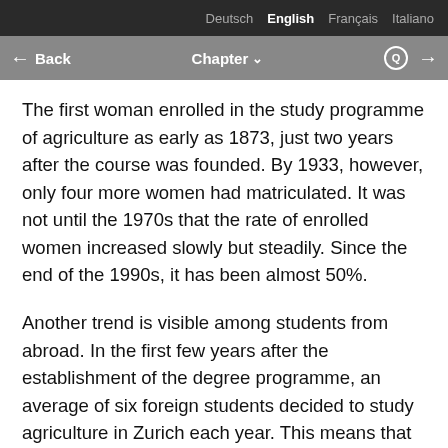Deutsch  English  Français  Italiano
← Back  Chapter ∨  🔍  →
The first woman enrolled in the study programme of agriculture as early as 1873, just two years after the course was founded. By 1933, however, only four more women had matriculated. It was not until the 1970s that the rate of enrolled women increased slowly but steadily. Since the end of the 1990s, it has been almost 50%.
Another trend is visible among students from abroad. In the first few years after the establishment of the degree programme, an average of six foreign students decided to study agriculture in Zurich each year. This means that every academic year saw more foreign students than Swiss. Until the early